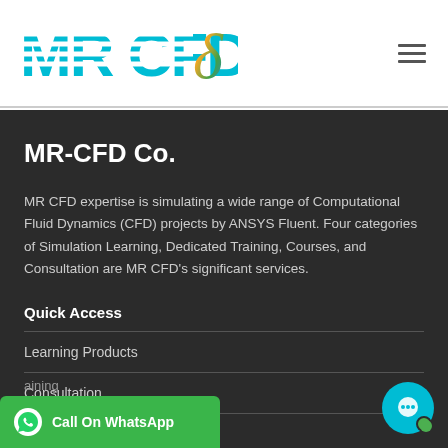[Figure (logo): MR CFD logo with teal striped letters and colorful delta symbol]
MR-CFD Co.
MR CFD expertise is simulating a wide range of Computational Fluid Dynamics (CFD) projects by ANSYS Fluent. Four categories of Simulation Learning, Dedicated Training, Courses, and Consultation are MR CFD's significant services.
Quick Access
Learning Products
Consultation